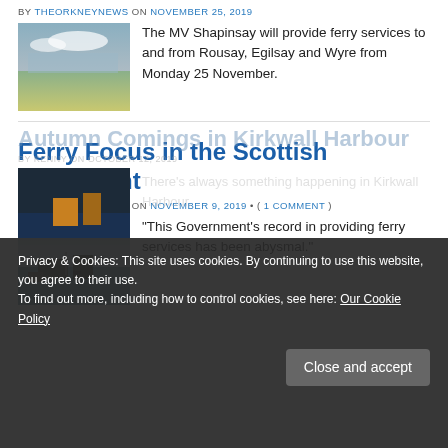BY THEORKNEYNEWS ON NOVEMBER 25, 2019
[Figure (photo): Coastal landscape with water and vegetation]
The MV Shapinsay will provide ferry services to and from Rousay, Egilsay and Wyre from Monday 25 November.
Ferry Focus in the Scottish Parliament
BY THEORKNEYNEWS ON NOVEMBER 9, 2019 • ( 1 COMMENT )
[Figure (photo): Sea harbour with buildings]
“This Government’s record in providing ferry services has been abysmal.”
Autumn Comings in Kirkwall Harbour
BY KENNY ON OCTOBER 12, 2019
There’s always something happening in Kirkwall Harbour.
Privacy & Cookies: This site uses cookies. By continuing to use this website, you agree to their use. To find out more, including how to control cookies, see here: Our Cookie Policy
Close and accept